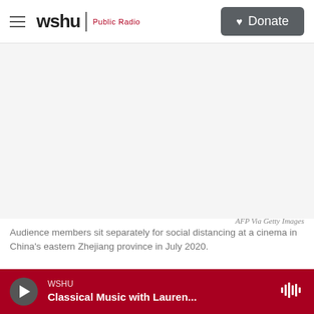wshu | Public Radio — Donate
[Figure (photo): Blank/white image area representing a photo of audience members sitting separately for social distancing at a cinema in China's eastern Zhejiang province in July 2020.]
AFP Via Getty Images
Audience members sit separately for social distancing at a cinema in China's eastern Zhejiang province in July 2020.
Fresh Air Weekend highlights some of the best
WSHU Classical Music with Lauren...